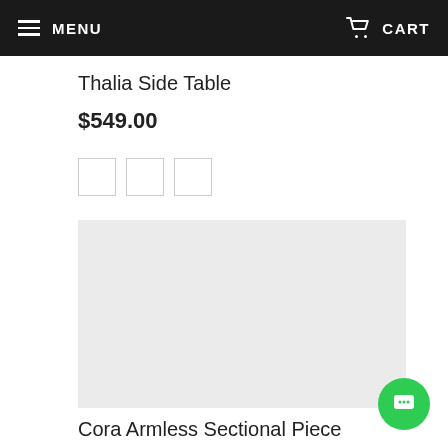MENU   CART
Thalia Side Table
$549.00
[Figure (other): Three white color swatch squares with light grey borders]
[Figure (photo): Light grey product image placeholder rectangle for Cora Armless Sectional Piece]
Cora Armless Sectional Piece
$1,289.00